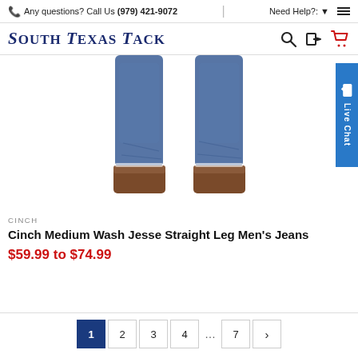Any questions? Call Us (979) 421-9072 | Need Help?: ☰
SOUTH TEXAS TACK
[Figure (photo): Lower legs and boots of a person wearing Cinch Medium Wash Jesse Straight Leg jeans, viewed from behind on a white background.]
CINCH
Cinch Medium Wash Jesse Straight Leg Men's Jeans
$59.99 to $74.99
Pagination: 1 2 3 4 ... 7 >